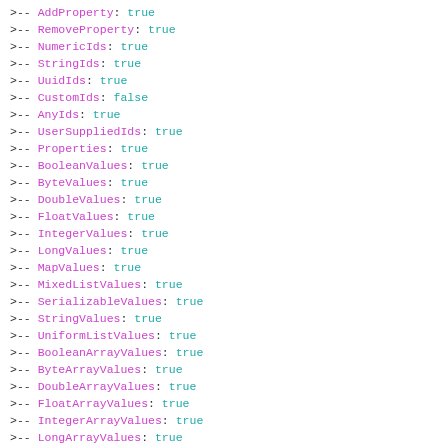>-- AddProperty: true
>-- RemoveProperty: true
>-- NumericIds: true
>-- StringIds: true
>-- UuidIds: true
>-- CustomIds: false
>-- AnyIds: true
>-- UserSuppliedIds: true
>-- Properties: true
>-- BooleanValues: true
>-- ByteValues: true
>-- DoubleValues: true
>-- FloatValues: true
>-- IntegerValues: true
>-- LongValues: true
>-- MapValues: true
>-- MixedListValues: true
>-- SerializableValues: true
>-- StringValues: true
>-- UniformListValues: true
>-- BooleanArrayValues: true
>-- ByteArrayValues: true
>-- DoubleArrayValues: true
>-- FloatArrayValues: true
>-- IntegerArrayValues: true
>-- LongArrayValues: true
>-- StringArrayValues: true
> EdgeFeatures
>-- AddEdges: true
>-- RemoveEdges: true
>-- AddProperty: true